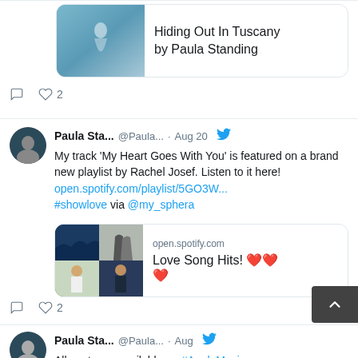[Figure (screenshot): Partial tweet showing a media card for 'Hiding Out In Tuscany by Paula Standing' with like count of 2]
Paula Sta... @Paula... · Aug 20
My track 'My Heart Goes With You' is featured on a brand new playlist by Rachel Josef. Listen to it here!
open.spotify.com/playlist/5GO3W...
#showlove via @my_sphera
[Figure (screenshot): Spotify media card showing album collage thumbnail with text 'open.spotify.com' and 'Love Song Hits! ❤️❤️❤️']
Paula Sta... @Paula... · Aug
All my tunes available on #AppleMusic